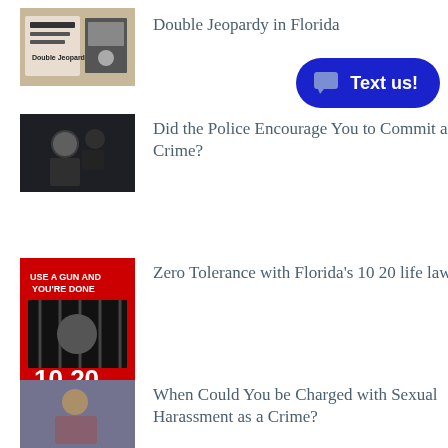Double Jeopardy in Florida
Did the Police Encourage You to Commit a Crime?
Zero Tolerance with Florida's 10 20 life law
When Could You be Charged with Sexual Harassment as a Crime?